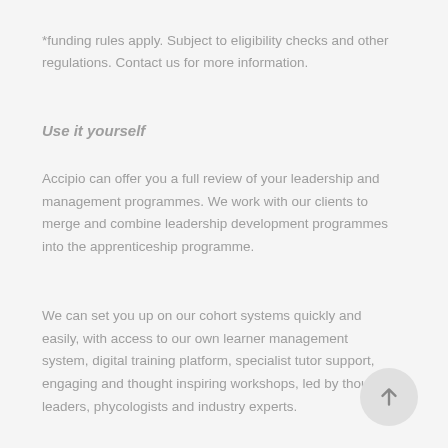*funding rules apply. Subject to eligibility checks and other regulations. Contact us for more information.
Use it yourself
Accipio can offer you a full review of your leadership and management programmes. We work with our clients to merge and combine leadership development programmes into the apprenticeship programme.
We can set you up on our cohort systems quickly and easily, with access to our own learner management system, digital training platform, specialist tutor support, engaging and thought inspiring workshops, led by thought leaders, phycologists and industry experts.